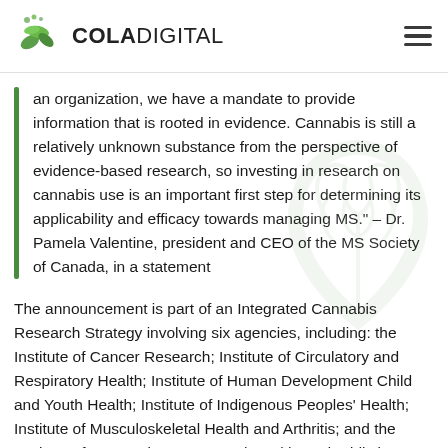COLADIGITAL
an organization, we have a mandate to provide information that is rooted in evidence. Cannabis is still a relatively unknown substance from the perspective of evidence-based research, so investing in research on cannabis use is an important first step for determining its applicability and efficacy towards managing MS." – Dr. Pamela Valentine, president and CEO of the MS Society of Canada, in a statement
The announcement is part of an Integrated Cannabis Research Strategy involving six agencies, including: the Institute of Cancer Research; Institute of Circulatory and Respiratory Health; Institute of Human Development Child and Youth Health; Institute of Indigenous Peoples' Health; Institute of Musculoskeletal Health and Arthritis; and the Institute of Neurosciences, Mental Health, and Addiction.